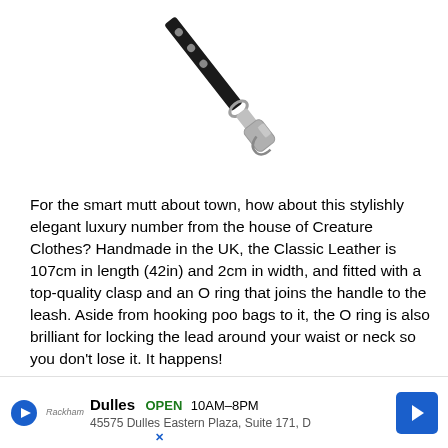[Figure (photo): A black leather dog leash with metal clasp/snap hook at the bottom, shown diagonally against white background]
For the smart mutt about town, how about this stylishly elegant luxury number from the house of Creature Clothes? Handmade in the UK, the Classic Leather is 107cm in length (42in) and 2cm in width, and fitted with a top-quality clasp and an O ring that joins the handle to the leash. Aside from hooking poo bags to it, the O ring is also brilliant for locking the lead around your waist or neck so you don't lose it. It happens!
This high-quality cowhide leash is available in plain brown, black, tan and red but if you really want to stand out from the cr[obscured by ad] exper[obscured by ad] e of
[Figure (other): Advertisement banner: Dulles store, OPEN 10AM-8PM, 45575 Dulles Eastern Plaza, Suite 171, D, with navigation arrow icon]